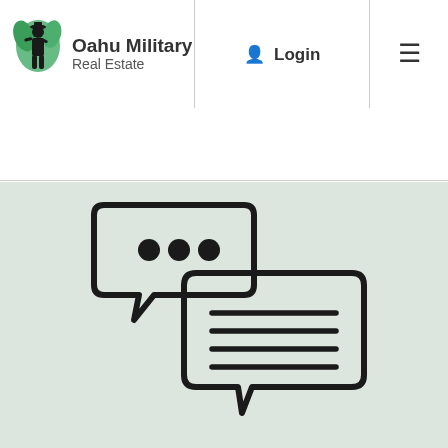[Figure (logo): Oahu Military Real Estate logo with military figure silhouette and green leaves]
Oahu Military Real Estate | Login | ≡
[Figure (illustration): Two speech bubble chat icons: one smaller bubble with three dots (typing indicator) and one larger bubble with four horizontal lines (text content)]